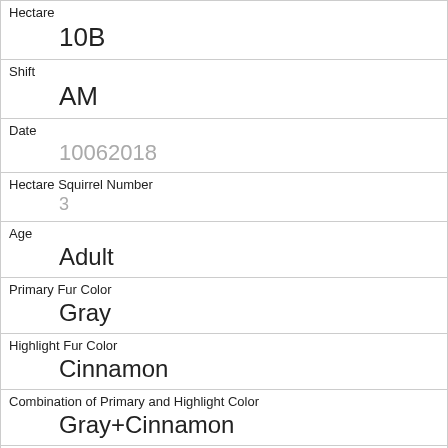| Hectare | 10B |
| Shift | AM |
| Date | 10062018 |
| Hectare Squirrel Number | 3 |
| Age | Adult |
| Primary Fur Color | Gray |
| Highlight Fur Color | Cinnamon |
| Combination of Primary and Highlight Color | Gray+Cinnamon |
| Color notes |  |
| Location | Above Ground |